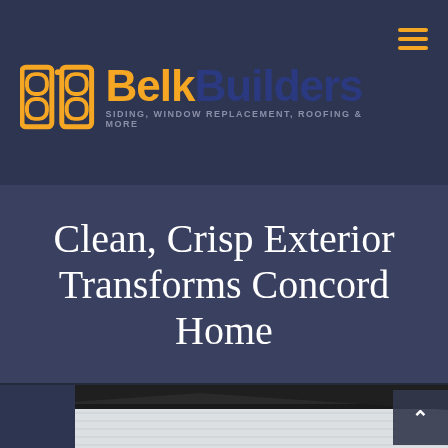[Figure (logo): Belk Builders logo with orange double-B icon and text 'BelkBuilders' with tagline 'SIDING, WINDOW REPLACEMENT, ROOFING & MORE']
Clean, Crisp Exterior Transforms Concord Home
[Figure (photo): Close-up photo of a home's exterior roofline and siding, showing dark gutters and white siding, partially visible at the bottom of the page]